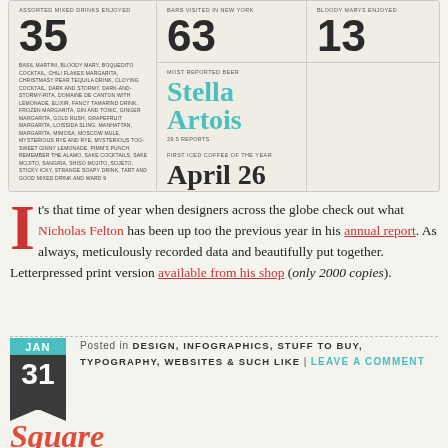[Figure (infographic): Statistics card showing: 35 assorted mixed drinks enjoyed, 63 bars visited in New York, 13 Bloody Marys enjoyed, Most reported beer: Stella Artois (29.5 reports), First iced coffee of the year: April 26. Left column lists all drink names.]
It's that time of year when designers across the globe check out what Nicholas Felton has been up too the previous year in his annual report. As always, meticulously recorded data and beautifully put together. Letterpressed print version available from his shop (only 2000 copies).
Posted in DESIGN, INFOGRAPHICS, STUFF TO BUY, TYPOGRAPHY, WEBSITES & SUCH LIKE | LEAVE A COMMENT
Square